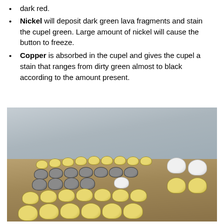dark red.
Nickel will deposit dark green lava fragments and stain the cupel green. Large amount of nickel will cause the button to freeze.
Copper is absorbed in the cupel and gives the cupel a stain that ranges from dirty green almost to black according to the amount present.
[Figure (photo): Photograph of numerous cupels (small cylindrical ceramic cups used in fire assaying) arranged in rows on a table or bench. Some cupels appear yellow/cream colored, others dark grey. The setting appears to be a laboratory or assay office with grey walls.]